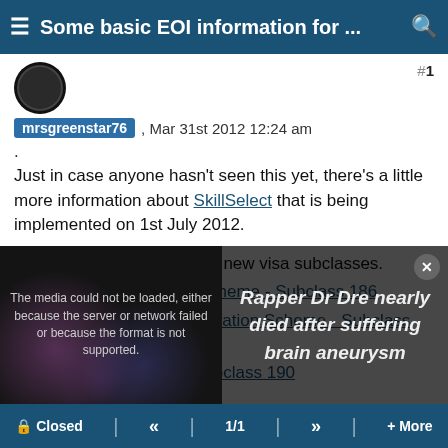≡ Some basic EOI information for ... 🔍
mrsgreenstar76 , Mar 31st 2012 12:24 am
.
Just in case anyone hasn't seen this yet, there's a little more information about SkillSelect that is being implemented on 1st July 2012.
More specifically, it lists the new visa subclasses.
Employer Nomination Scheme - Subclass 186
Regional Sponsored Migration Scheme - Subclass 187
Skilled - Nominated - Subclass 190
[Figure (screenshot): Media player error overlay showing 'The media could not be loaded, either because the server or network failed or because the format is not supported.' alongside a news headline about Rapper Dr Dre brain aneurysm, with a dark bokeh background image.]
🔒 Closed  «  1/1  »  + More